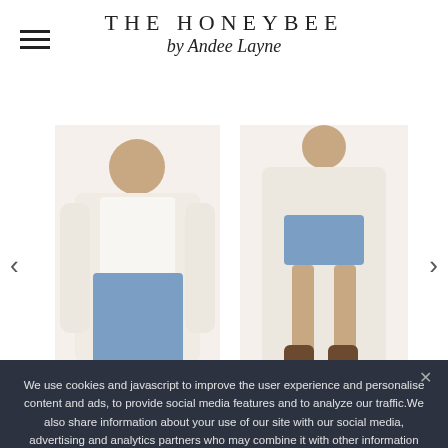THE HONEYBEE by Andee Layne
[Figure (photo): Two fashion photos side by side: left shows a woman wearing a cream/white fuzzy cardigan over a white top with blue jeans; right shows a woman wearing a long cream cardigan with denim shorts and brown cowboy boots. Navigation arrows on either side.]
LEATHER EVERYTHING
We use cookies and javascript to improve the user experience and personalise content and ads, to provide social media features and to analyze our traffic.We also share information about your use of our site with our social media, advertising and analytics partners who may combine it with other information that you've provided to them or that they've collected from your use of their services. If you disagree, please, press BACK on your browser.